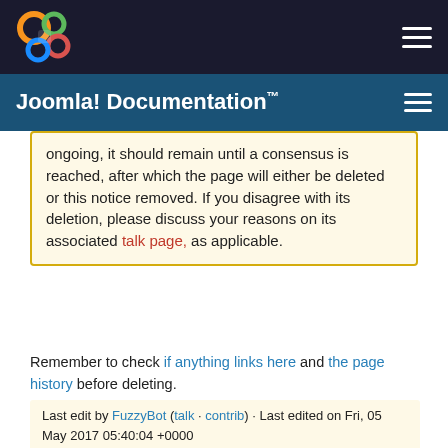Joomla! Documentation™
ongoing, it should remain until a consensus is reached, after which the page will either be deleted or this notice removed. If you disagree with its deletion, please discuss your reasons on its associated talk page, as applicable.
Remember to check if anything links here and the page history before deleting.
Last edit by FuzzyBot (talk · contrib) · Last edited on Fri, 05 May 2017 05:40:04 +0000
First. This value is the lowest on the list.
This Page is a Candidate for Deletion